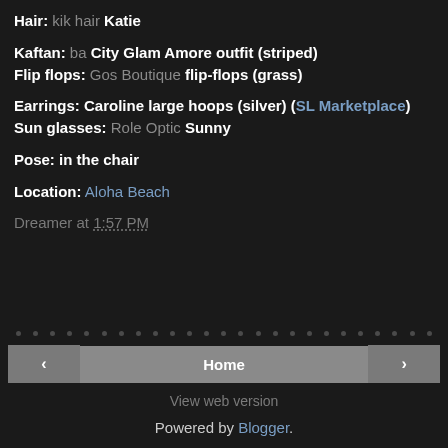Hair: kik hair Katie
Kaftan: ba City Glam Amore outfit (striped)
Flip flops: Gos Boutique flip-flops (grass)
Earrings: Caroline large hoops (silver) (SL Marketplace)
Sun glasses: Role Optic Sunny
Pose: in the chair
Location: Aloha Beach
Dreamer at 1:57 PM
Home | View web version | Powered by Blogger.